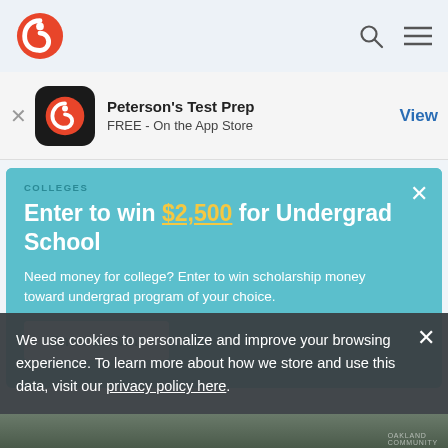Peterson's logo, search icon, menu icon
Peterson's Test Prep
FREE - On the App Store
View
COLLEGES
Enter to win $2,500 for Undergrad School
Need money for college? Enter to win scholarship money toward undergrad program of your choice.
Enter to Win!
How to Smoothly Transfer from a Community College to a Four-Year University
APRIL 12, 2019 · BY TAYLOR SIENKIEWICZ · 8 MINS READ
We use cookies to personalize and improve your browsing experience. To learn more about how we store and use this data, visit our privacy policy here.